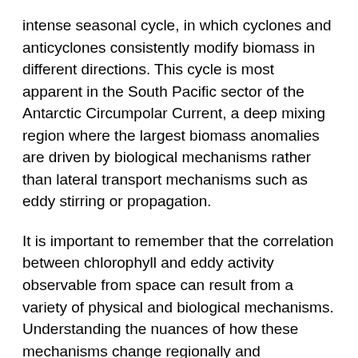intense seasonal cycle, in which cyclones and anticyclones consistently modify biomass in different directions. This cycle is most apparent in the South Pacific sector of the Antarctic Circumpolar Current, a deep mixing region where the largest biomass anomalies are driven by biological mechanisms rather than lateral transport mechanisms such as eddy stirring or propagation.
It is important to remember that the correlation between chlorophyll and eddy activity observable from space can result from a variety of physical and biological mechanisms. Understanding the nuances of how these mechanisms change regionally and seasonally is integral in both scaling up local observations and parameterizing coarser, non-eddy resolving general circulation models with embedded biogeochemistry.
Auth...